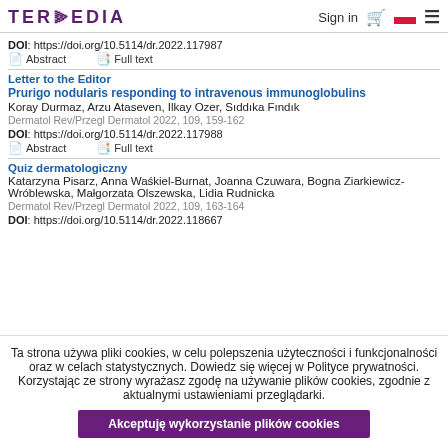TERMEDIA | Sign in
DOI: https://doi.org/10.5114/dr.2022.117987
Abstract   Full text
Letter to the Editor
Prurigo nodularis responding to intravenous immunoglobulins
Koray Durmaz, Arzu Ataseven, Ilkay Ozer, Sıddıka Fındık
Dermatol Rev/Przegl Dermatol 2022, 109, 159-162
DOI: https://doi.org/10.5114/dr.2022.117988
Abstract   Full text
Quiz dermatologiczny
Katarzyna Pisarz, Anna Waśkiel-Burnat, Joanna Czuwara, Bogna Ziarkiewicz-Wróblewska, Małgorzata Olszewska, Lidia Rudnicka
Dermatol Rev/Przegl Dermatol 2022, 109, 163-164
DOI: https://doi.org/10.5114/dr.2022.118667
Ta strona używa pliki cookies, w celu polepszenia użyteczności i funkcjonalności oraz w celach statystycznych. Dowiedz się więcej w Polityce prywatności.
Korzystając ze strony wyrażasz zgodę na używanie plików cookies, zgodnie z aktualnymi ustawieniami przeglądarki.
Akceptuję wykorzystanie plików cookies